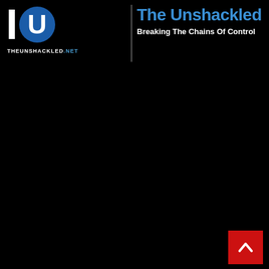[Figure (logo): The Unshackled logo with stylized 'I' and 'U' letterform in a circle, blue and white on black background, with website URL THEUNSHACKLED.NET]
The Unshackled
Breaking The Chains Of Control
[Figure (illustration): Red square button with white upward-pointing chevron arrow in bottom-right corner]